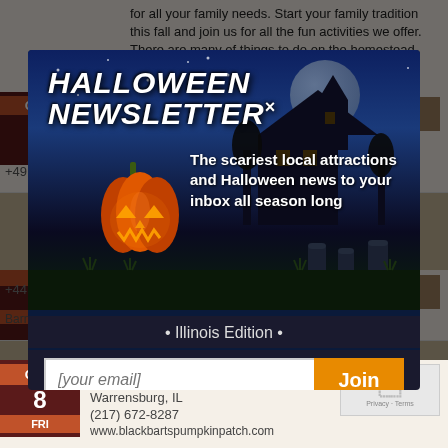for all your family needs. Start your family tradition this fall and join us for all the fun activities we offer. There are many of things to do on the homestead. We have activities... Read More
Roth Pumpkin Patch
Morton, IL
+49...
[Figure (photo): Roth Pumpkin Patch thumbnail image]
[Figure (screenshot): Halloween Newsletter popup modal overlay with pumpkin and haunted house scene, email signup form, Illinois Edition]
Black Bart's Pumpkin Patch
Warrensburg, IL
(217) 672-8287
www.blackbartspumpkinpatch.com
[Figure (logo): reCAPTCHA badge with Privacy and Terms links]